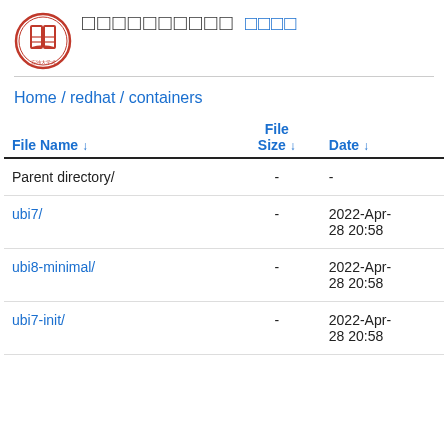□□□□□□□□□□  □□□□
Home / redhat / containers
| File Name ↓ | File Size ↓ | Date ↓ |
| --- | --- | --- |
| Parent directory/ | - | - |
| ubi7/ | - | 2022-Apr-28 20:58 |
| ubi8-minimal/ | - | 2022-Apr-28 20:58 |
| ubi7-init/ | - | 2022-Apr-28 20:58 |